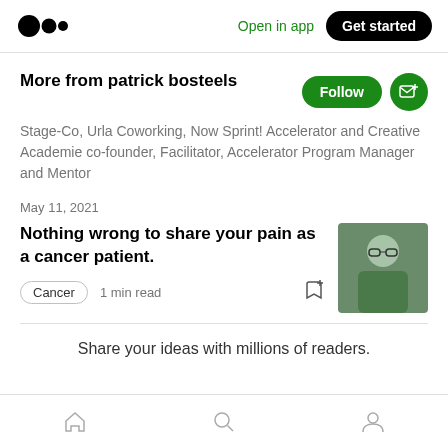Open in app | Get started
More from patrick bosteels
Stage-Co, Urla Coworking, Now Sprint! Accelerator and Creative Academie co-founder, Facilitator, Accelerator Program Manager and Mentor
May 11, 2021
Nothing wrong to share your pain as a cancer patient.
Cancer  1 min read
Share your ideas with millions of readers.